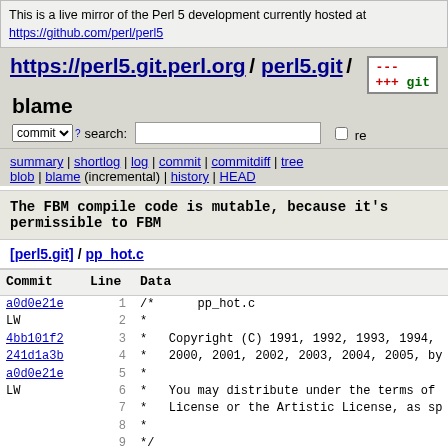This is a live mirror of the Perl 5 development currently hosted at https://github.com/perl/perl5
https://perl5.git.perl.org / perl5.git / blame
commit search: re
summary | shortlog | log | commit | commitdiff | tree blob | blame (incremental) | history | HEAD
The FBM compile code is mutable, because it's permissible to FBM
[perl5.git] / pp_hot.c
| Commit | Line | Data |
| --- | --- | --- |
| a0d0e21e / LW | 1 | /*      pp_hot.c |
|  | 2 | * |
| 4bb101f2 | 3 | *  Copyright (C) 1991, 1992, 1993, 1994, |
| 241d1a3b | 4 | *  2000, 2001, 2002, 2003, 2004, 2005, by |
| a0d0e21e / LW | 5 | * |
|  | 6 | *  You may distribute under the terms of |
|  | 7 | *  License or the Artistic License, as sp |
|  | 8 | * |
|  | 9 | */ |
|  | 10 |  |
|  | 11 | /* |
|  | 12 | *  Then he heard Merry change the note, and |
|  | 13 | *  shaking the air. |
|  | 14 | * |